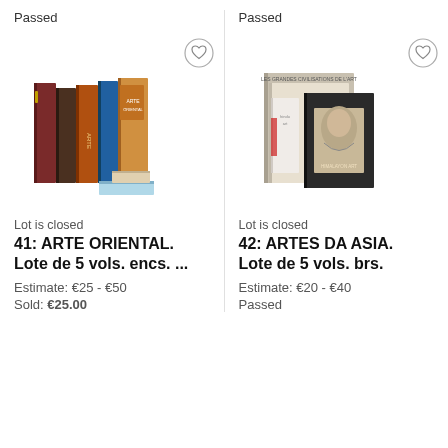Passed
[Figure (photo): Stack of books - Arte Oriental, approximately 5 volumes standing upright, various colors including maroon, orange, blue, and light blue]
Lot is closed
41: ARTE ORIENTAL. Lote de 5 vols. encs. ...
Estimate: €25 - €50
Sold: €25.00
Passed
[Figure (photo): Stack of books - Artes da Asia, approximately 5 volumes, some standing and some laid flat, various covers including a dark cover with portrait]
Lot is closed
42: ARTES DA ASIA. Lote de 5 vols. brs.
Estimate: €20 - €40
Passed